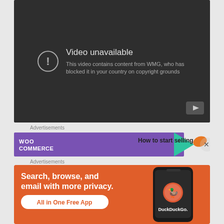[Figure (screenshot): YouTube video unavailable error screen with dark background, warning icon, text 'Video unavailable', 'This video contains content from WMG, who has blocked it in your country on copyright grounds', and YouTube logo button in bottom right]
Advertisements
[Figure (screenshot): WooCommerce banner advertisement with purple background showing 'WOO COMMERCE' text, green arrow, and 'How to start selling' text with orange duck logo. Close (X) button on right.]
Advertisements
[Figure (screenshot): DuckDuckGo advertisement banner with orange background. Text: 'Search, browse, and email with more privacy.' and 'All in One Free App' button. Shows DuckDuckGo app on phone with logo and 'DuckDuckGo.' text.]